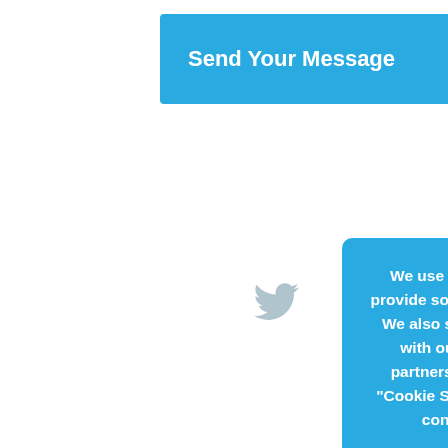Send Your Message
[Figure (other): Twitter bird icon in light grey]
We use cookies to personalise content and ads, to provide social media features and to analyse our traffic. We also share information about your use of our site with our social media, advertising and analytics partners. You can control your cookies by clicking "Cookie Settings." If you continue to use this site, you consent to our use of cookies. Read more
[Figure (other): Accept button at bottom of cookie overlay]
[Figure (other): Scroll-to-top button with upward arrow, grey square]